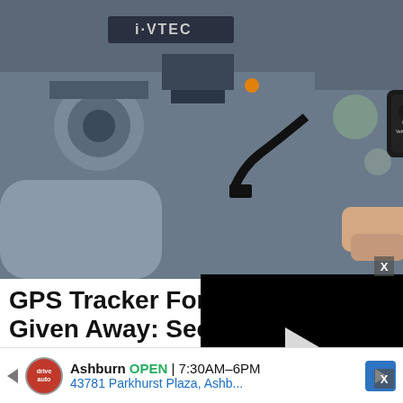[Figure (photo): A hand holding a small black GPS Vehicle Tracker device above a car engine bay (i-VTEC visible), with engine components visible in background.]
X
GPS Tracker For Given Away: See
GPS Tracker | Search Ads | Spon...
[Figure (screenshot): Embedded video player showing black screen with a white play button triangle and video controls showing timestamp 13:52, closed captions, grid, settings, and fullscreen icons.]
[Figure (photo): Product photo on red background showing a notebook/binder device on the left and a cable/keychain accessory on the right.]
X
Ashburn OPEN 7:30AM-6PM 43781 Parkhurst Plaza, Ashb...